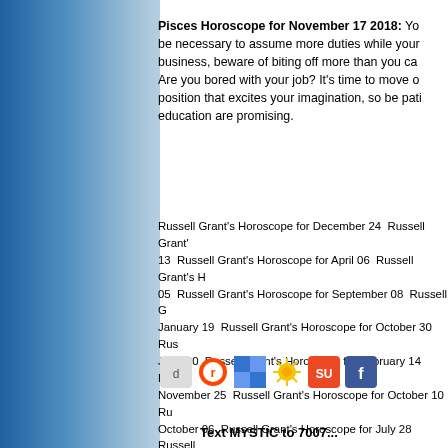Pisces Horoscope for November 17 2018: You may be necessary to assume more duties while your business, beware of biting off more than you can. Are you bored with your job? It's time to move on a position that excites your imagination, so be patient. education are promising.
Russell Grant's Horoscope for December 24  Russell Grant's 13  Russell Grant's Horoscope for April 06  Russell Grant's H 05  Russell Grant's Horoscope for September 08  Russell G January 19  Russell Grant's Horoscope for October 30  Rus June 30  Russell Grant's Horoscope for February 14  Russe November 25  Russell Grant's Horoscope for October 10  Ru October 06  Russell Grant's Horoscope for July 28  Russell
[Figure (infographic): Social media sharing icons: Digg, Reddit, Delicious (blue square), Yahoo Buzz (sun), StumbleUpon, Facebook]
Text MYSTIC to 7007...